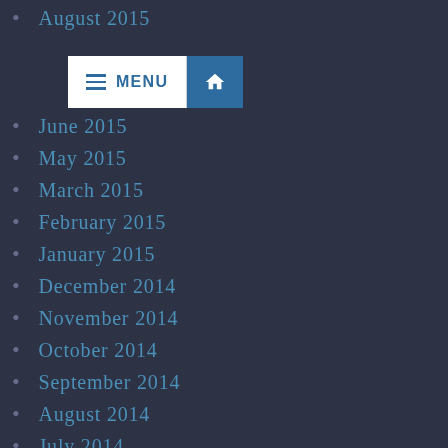September 2015
August 2015
June 2015
May 2015
March 2015
February 2015
January 2015
December 2014
November 2014
October 2014
September 2014
August 2014
July 2014
June 2014
May 2014
April 2014
March 2014
February 2014